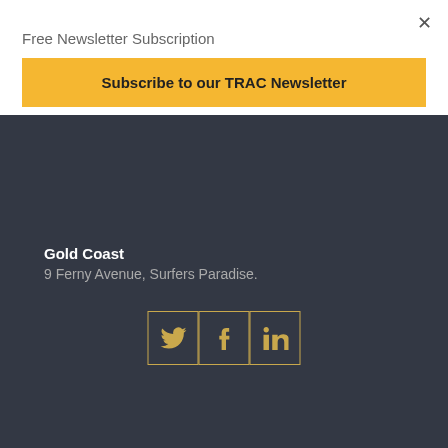Free Newsletter Subscription
Subscribe to our TRAC Newsletter
Gold Coast
9 Ferny Avenue, Surfers Paradise.
[Figure (infographic): Social media icons for Twitter, Facebook, and LinkedIn with gold borders on dark background]